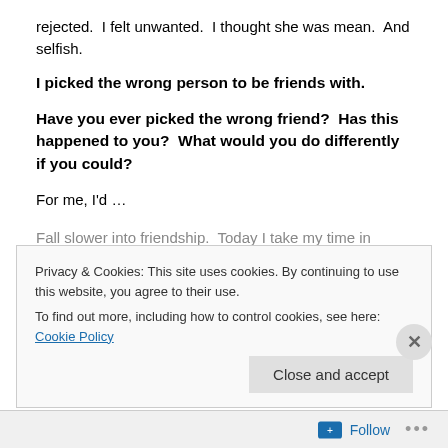rejected.  I felt unwanted.  I thought she was mean.  And selfish.
I picked the wrong person to be friends with.
Have you ever picked the wrong friend?  Has this happened to you?  What would you do differently if you could?
For me, I'd ...
Fall slower into friendship.  Today I take my time in
Privacy & Cookies: This site uses cookies. By continuing to use this website, you agree to their use.
To find out more, including how to control cookies, see here: Cookie Policy
Close and accept
Follow ...